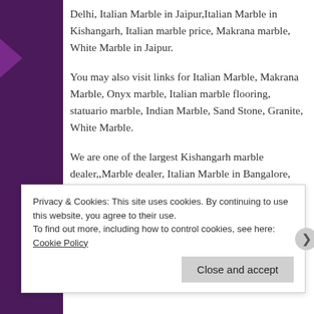Delhi, Italian Marble in Jaipur,Italian Marble in Kishangarh, Italian marble price, Makrana marble, White Marble in Jaipur.
You may also visit links for Italian Marble, Makrana Marble, Onyx marble, Italian marble flooring, statuario marble, Indian Marble, Sand Stone, Granite, White Marble.
We are one of the largest Kishangarh marble dealer,,Marble dealer, Italian Marble in Bangalore, Marble Dealer in Bangalore, Italian Marble in Delhi, Italian Marble in Jaipur, Italian Marble in Kishangarh, Italian marble price,Italian Marble in Bangalore,,Italian
Privacy & Cookies: This site uses cookies. By continuing to use this website, you agree to their use.
To find out more, including how to control cookies, see here: Cookie Policy